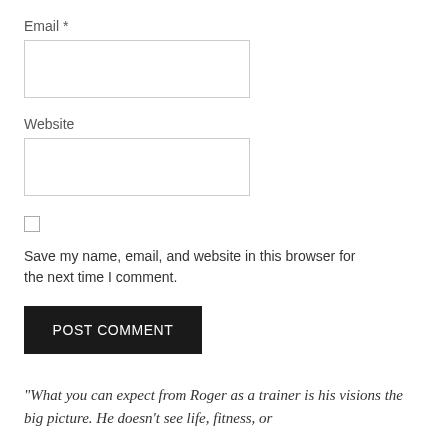Email *
Website
Save my name, email, and website in this browser for the next time I comment.
POST COMMENT
“What you can expect from Roger as a trainer is his visions the big picture. He doesn’t see life, fitness, or